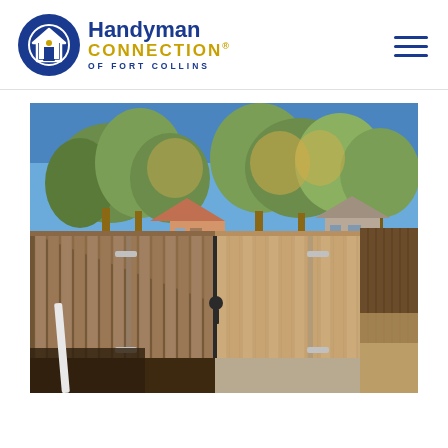Handyman Connection of Fort Collins — logo and navigation hamburger menu
[Figure (photo): Outdoor photo of a newly built wooden fence with double gates. The fence is made of natural cedar/pine vertical boards. Two gate panels are visible in the center with metal hardware (hinges and a latch). A diagonal shadow crosses the left gate panel. Trees with autumn foliage are visible in the background against a blue sky. Suburban homes and a gravel/dirt path are visible to the right.]